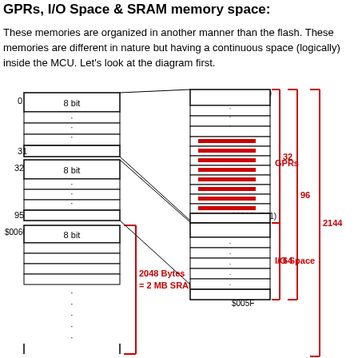GPRs, I/O Space & SRAM memory space:
These memories are organized in another manner than the flash. These memories are different in nature but having a continuous space (logically) inside the MCU. Let's look at the diagram first.
[Figure (engineering-diagram): Memory map diagram showing GPRs (32 registers, $0000 R0 to $001F R31), I/O Space (64 bytes, $0020 to $005F), and SRAM (2048 Bytes = 2 MB SRAM starting at $0060). Left side shows 8-bit registers numbered 0-31, 32-95, $0060. Right side shows expanded address space with red brackets indicating sizes 32, 64, 96, and 2144.]